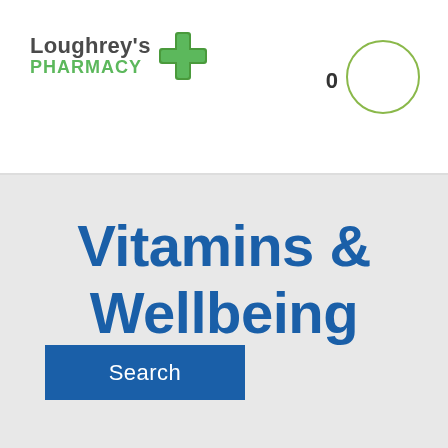[Figure (logo): Loughrey's Pharmacy logo with green cross icon]
Vitamins & Wellbeing
Search